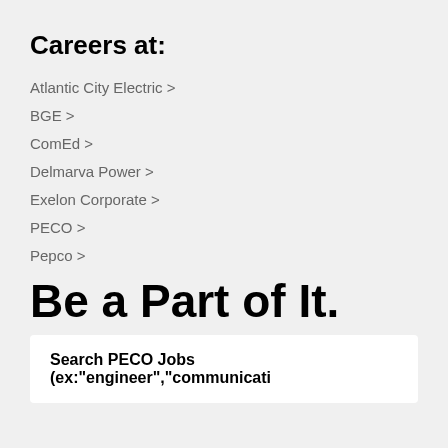Careers at:
Atlantic City Electric >
BGE >
ComEd >
Delmarva Power >
Exelon Corporate >
PECO >
Pepco >
Be a Part of It.
Search PECO Jobs (ex:"engineer","communicati